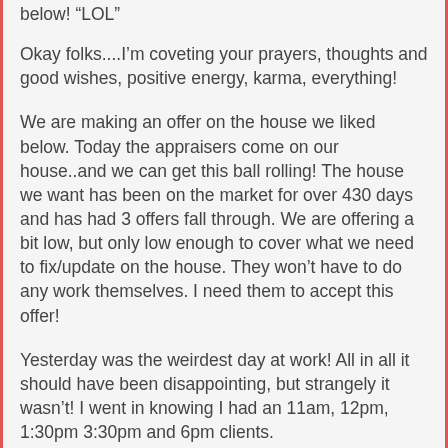below! “LOL”
Okay folks....I’m coveting your prayers, thoughts and good wishes, positive energy, karma, everything!
We are making an offer on the house we liked below. Today the appraisers come on our house..and we can get this ball rolling! The house we want has been on the market for over 430 days and has had 3 offers fall through. We are offering a bit low, but only low enough to cover what we need to fix/update on the house. They won’t have to do any work themselves. I need them to accept this offer!
Yesterday was the weirdest day at work! All in all it should have been disappointing, but strangely it wasn’t! I went in knowing I had an 11am, 12pm, 1:30pm 3:30pm and 6pm clients.
The 11am showed, the 12pm rescheduled due to an emergency, the 1:30 did a no-show as did the 3:30 and the 6pm! I had a walk in at 4:30pm....and sold two gift